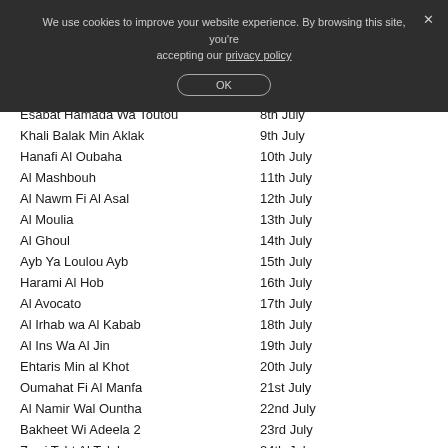We use cookies to improve your website experience. By browsing this site, you're accepting our privacy policy
Esabat Hamada Wa Toutou — 8th July
Khali Balak Min Aklak — 9th July
Hanafi Al Oubaha — 10th July
Al Mashbouh — 11th July
Al Nawm Fi Al Asal — 12th July
Al Moulia — 13th July
Al Ghoul — 14th July
Ayb Ya Loulou Ayb — 15th July
Harami Al Hob — 16th July
Al Avocato — 17th July
Al Irhab wa Al Kabab — 18th July
Al Ins Wa Al Jin — 19th July
Ehtaris Min al Khot — 20th July
Oumahat Fi Al Manfa — 21st July
Al Namir Wal Ountha — 22nd July
Bakheet Wi Adeela 2 — 23rd July
Zawj Taht Al Talab — 24th July
Tiyour Al Thalam — 25th July
Khamsa Bab — 26th July